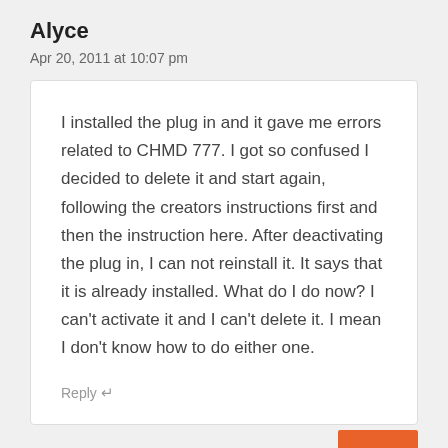Alyce
Apr 20, 2011 at 10:07 pm
I installed the plug in and it gave me errors related to CHMD 777. I got so confused I decided to delete it and start again, following the creators instructions first and then the instruction here. After deactivating the plug in, I can not reinstall it. It says that it is already installed. What do I do now? I can't activate it and I can't delete it. I mean I don't know how to do either one.
Reply ↵